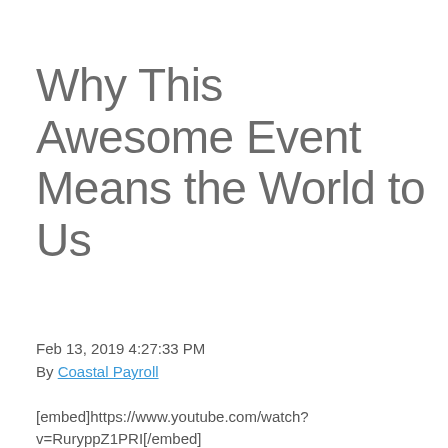Why This Awesome Event Means the World to Us
Feb 13, 2019 4:27:33 PM
By Coastal Payroll
[embed]https://www.youtube.com/watch?v=RuryppZ1PRI[/embed]
Join us for the 4th Annual SpeakUp5K San Diego run on April 14 along the waterfront in iconic Seaport Village in downtown San Diego. This race is one of joy, celebration, and hope. It's extremely close to our